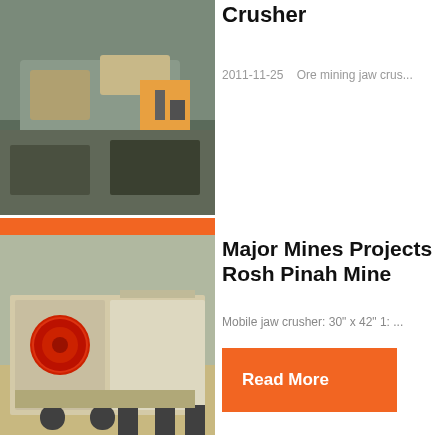[Figure (photo): Mining jaw crusher machine working in a quarry with rocks and machinery visible]
Crusher
2011-11-25    Ore mining jaw crus...
Read More
[Figure (photo): Mobile jaw crusher machine on wheels, beige/cream colored with red flywheels]
Major Mines Projects Rosh Pinah Mine
Mobile jaw crusher: 30" x 42" 1: ...
Read More